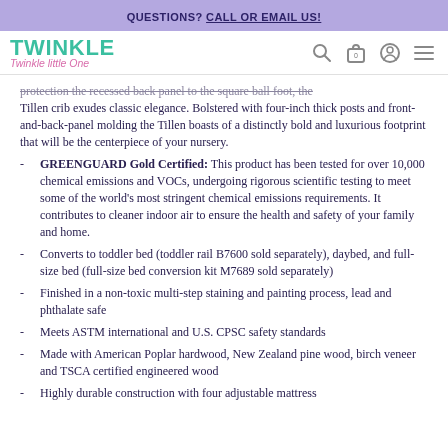QUESTIONS? CALL OR EMAIL US!
[Figure (logo): Twinkle Twinkle Little One logo with teal and pink text, accompanied by search, cart, account, and menu icons]
protection the recessed back panel to the square ball foot, the Tillen crib exudes classic elegance. Bolstered with four-inch thick posts and front-and-back-panel molding the Tillen boasts of a distinctly bold and luxurious footprint that will be the centerpiece of your nursery.
GREENGUARD Gold Certified: This product has been tested for over 10,000 chemical emissions and VOCs, undergoing rigorous scientific testing to meet some of the world's most stringent chemical emissions requirements. It contributes to cleaner indoor air to ensure the health and safety of your family and home.
Converts to toddler bed (toddler rail B7600 sold separately), daybed, and full-size bed (full-size bed conversion kit M7689 sold separately)
Finished in a non-toxic multi-step staining and painting process, lead and phthalate safe
Meets ASTM international and U.S. CPSC safety standards
Made with American Poplar hardwood, New Zealand pine wood, birch veneer and TSCA certified engineered wood
Highly durable construction with four adjustable mattress...